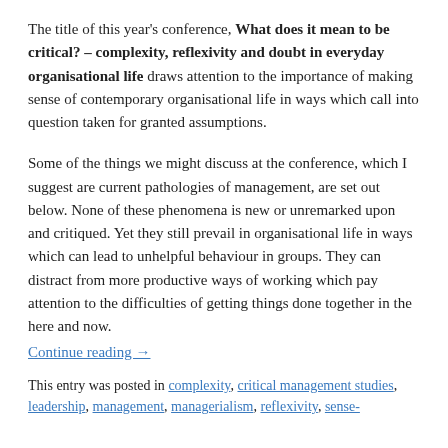The title of this year's conference, What does it mean to be critical? – complexity, reflexivity and doubt in everyday organisational life draws attention to the importance of making sense of contemporary organisational life in ways which call into question taken for granted assumptions.
Some of the things we might discuss at the conference, which I suggest are current pathologies of management, are set out below. None of these phenomena is new or unremarked upon and critiqued. Yet they still prevail in organisational life in ways which can lead to unhelpful behaviour in groups. They can distract from more productive ways of working which pay attention to the difficulties of getting things done together in the here and now.
Continue reading →
This entry was posted in complexity, critical management studies, leadership, management, managerialism, reflexivity, sense-